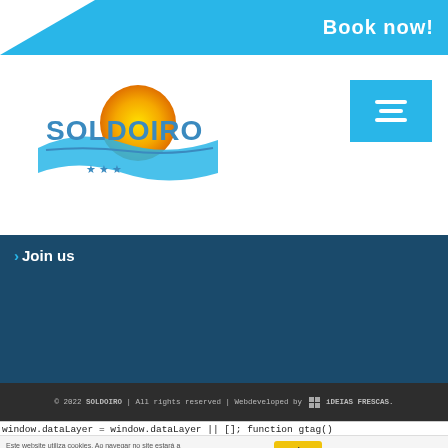Book now!
[Figure (logo): Soldoiro hotel logo with sun graphic, wave and three stars]
[Figure (other): Blue hamburger menu button]
Join us
© 2022 SOLDOIRO | All rights reserved | Webdeveloped by iDEIAS FRESCAS.
window.dataLayer = window.dataLayer || []; function gtag()
Este website utiliza cookies. Ao navegar no site estará a consentir a sua utilização. Saiba Mais